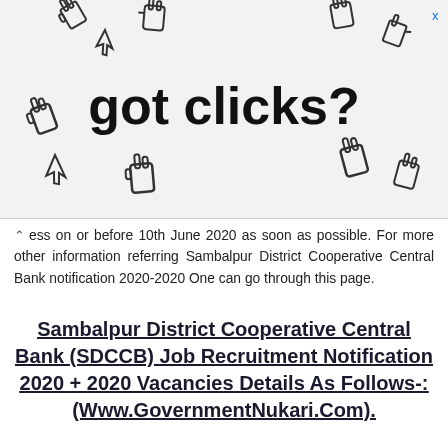[Figure (illustration): Advertisement banner showing cursor/hand click icons surrounding the text 'got clicks?' with an X close button in the top right corner]
ess on or before 10th June 2020 as soon as possible. For more other information referring Sambalpur District Cooperative Central Bank notification 2020-2020 One can go through this page.
Sambalpur District Cooperative Central Bank (SDCCB) Job Recruitment Notification 2020 + 2020 Vacancies Details As Follows-: (Www.GovernmentNukari.Com).